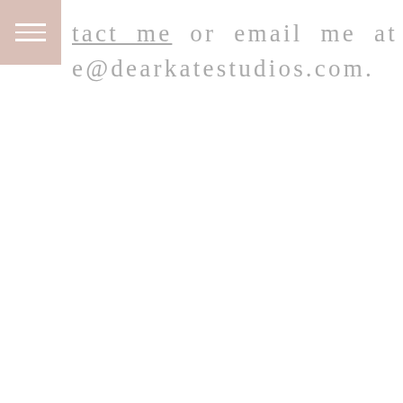[Figure (other): Navigation hamburger menu icon with three horizontal white lines on a dusty rose/pink background square in upper left corner]
tact me or email me at e@dearkatestudios.com.